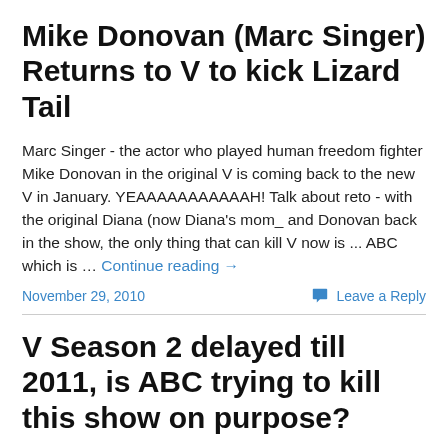Mike Donovan (Marc Singer) Returns to V to kick Lizard Tail
Marc Singer - the actor who played human freedom fighter Mike Donovan in the original V is coming back to the new V in January. YEAAAAAAAAAAAH! Talk about reto - with the original Diana (now Diana's mom_ and Donovan back in the show, the only thing that can kill V now is ... ABC which is … Continue reading →
November 29, 2010   Leave a Reply
V Season 2 delayed till 2011, is ABC trying to kill this show on purpose?